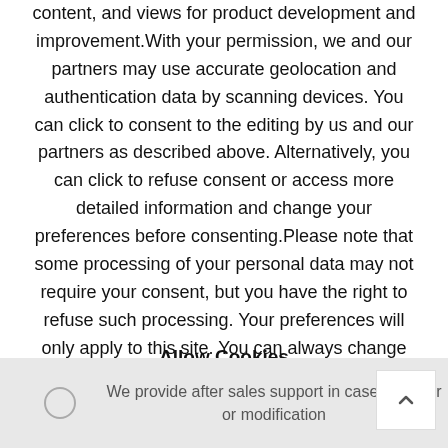content, and views for product development and improvement.With your permission, we and our partners may use accurate geolocation and authentication data by scanning devices. You can click to consent to the editing by us and our partners as described above. Alternatively, you can click to refuse consent or access more detailed information and change your preferences before consenting.Please note that some processing of your personal data may not require your consent, but you have the right to refuse such processing. Your preferences will only apply to this site. You can always change your preferences by returning to this site or visiting our privacy policy. Read more
Allow Cookies
We provide after sales support in case of repair or modification